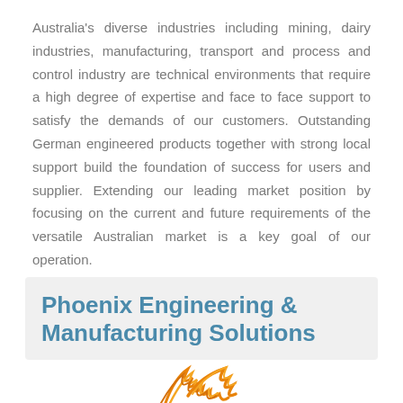Australia's diverse industries including mining, dairy industries, manufacturing, transport and process and control industry are technical environments that require a high degree of expertise and face to face support to satisfy the demands of our customers. Outstanding German engineered products together with strong local support build the foundation of success for users and supplier. Extending our leading market position by focusing on the current and future requirements of the versatile Australian market is a key goal of our operation.
Phoenix Engineering & Manufacturing Solutions
[Figure (logo): Phoenix bird logo in orange/amber colors, partially visible at bottom of page]